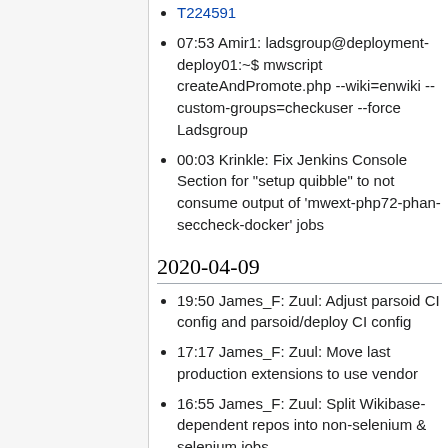T224591 (link)
07:53 Amir1: ladsgroup@deployment-deploy01:~$ mwscript createAndPromote.php --wiki=enwiki --custom-groups=checkuser --force Ladsgroup
00:03 Krinkle: Fix Jenkins Console Section for "setup quibble" to not consume output of 'mwext-php72-phan-seccheck-docker' jobs
2020-04-09
19:50 James_F: Zuul: Adjust parsoid CI config and parsoid/deploy CI config
17:17 James_F: Zuul: Move last production extensions to use vendor
16:55 James_F: Zuul: Split Wikibase-dependent repos into non-selenium & selenium jobs